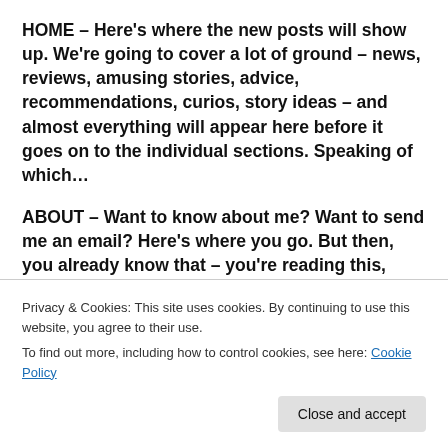HOME – Here's where the new posts will show up.  We're going to cover a lot of ground – news, reviews, amusing stories, advice, recommendations, curios, story ideas – and almost everything will appear here before it goes on to the individual sections.  Speaking of which…
ABOUT – Want to know about me?  Want to send me an email?  Here's where you go.  But then, you already know that – you're reading this, after all – so let's move on to
Privacy & Cookies: This site uses cookies. By continuing to use this website, you agree to their use.
To find out more, including how to control cookies, see here: Cookie Policy
Close and accept